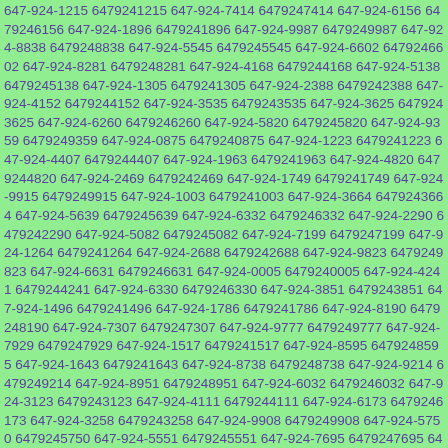647-924-1215 6479241215 647-924-7414 6479247414 647-924-6156 6479246156 647-924-1896 6479241896 647-924-9987 6479249987 647-924-8838 6479248838 647-924-5545 6479245545 647-924-6602 6479246602 647-924-8281 6479248281 647-924-4168 6479244168 647-924-5138 6479245138 647-924-1305 6479241305 647-924-2388 6479242388 647-924-4152 6479244152 647-924-3535 6479243535 647-924-3625 6479243625 647-924-6260 6479246260 647-924-5820 6479245820 647-924-9359 6479249359 647-924-0875 6479240875 647-924-1223 6479241223 647-924-4407 6479244407 647-924-1963 6479241963 647-924-4820 6479244820 647-924-2469 6479242469 647-924-1749 6479241749 647-924-9915 6479249915 647-924-1003 6479241003 647-924-3664 6479243664 647-924-5639 6479245639 647-924-6332 6479246332 647-924-2290 6479242290 647-924-5082 6479245082 647-924-7199 6479247199 647-924-1264 6479241264 647-924-2688 6479242688 647-924-9823 6479249823 647-924-6631 6479246631 647-924-0005 6479240005 647-924-4241 6479244241 647-924-6330 6479246330 647-924-3851 6479243851 647-924-1496 6479241496 647-924-1786 6479241786 647-924-8190 6479248190 647-924-7307 6479247307 647-924-9777 6479249777 647-924-7929 6479247929 647-924-1517 6479241517 647-924-8595 6479248595 647-924-1643 6479241643 647-924-8738 6479248738 647-924-9214 6479249214 647-924-8951 6479248951 647-924-6032 6479246032 647-924-3123 6479243123 647-924-4111 6479244111 647-924-6173 6479246173 647-924-3258 6479243258 647-924-9908 6479249908 647-924-5750 6479245750 647-924-5551 6479245551 647-924-7695 6479247695 647-924-2096 6479242096 647-924-9655 6479249655